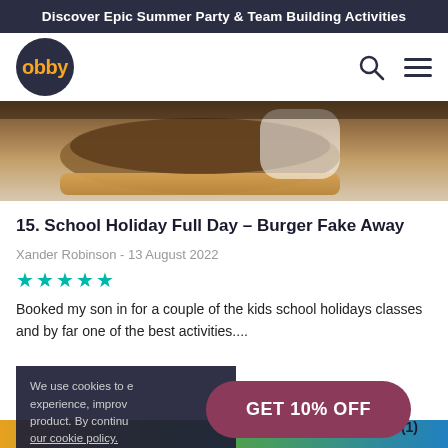Discover Epic Summer Party & Team Building Activities
[Figure (logo): Obby logo: dark navy circle with orange text 'obby']
[Figure (photo): Close-up photo of a burger (School Holiday Full Day – Burger Fake Away activity)]
15. School Holiday Full Day – Burger Fake Away
Xander Robinson - 13 August 2022
★★★★★
Booked my son in for a couple of the kids school holidays classes and by far one of the best activities....
We use cookies to e experience, improv product. By continu our cookie policy.
GET 10% OFF
★ 5 (1)